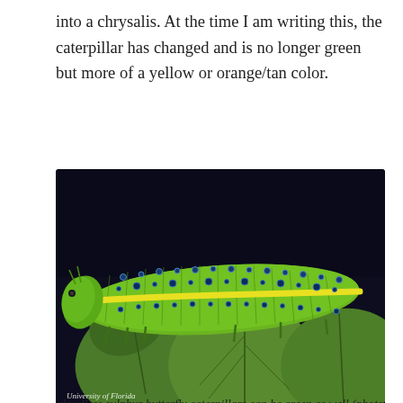into a chrysalis. At the time I am writing this, the caterpillar has changed and is no longer green but more of a yellow or orange/tan color.
[Figure (photo): Close-up photo of a green cloudless sulphur butterfly caterpillar with a yellow stripe and blue dots, resting on green rounded leaves against a dark blue background. Watermark reads 'University of Florida'.]
cloudless sulphur butterfly caterpillars can be green as well (photo courtesy of Marc C. Minno, University of Florida, http://entnemdept.ufl.edu/creatures/bfly/bfly2/cloudless_sulphur.htm)